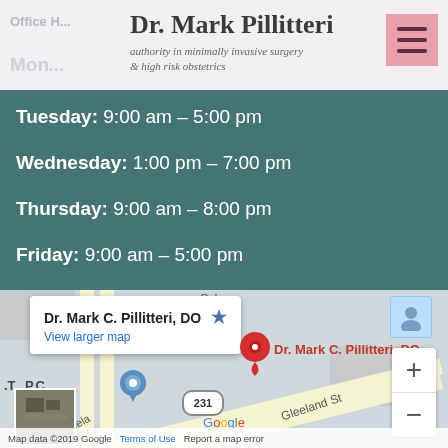Dr. Mark Pillitteri
authority in minimally invasive surgery & high risk obstetrics
Tuesday: 9:00 am – 5:00 pm
Wednesday: 1:00 pm – 7:00 pm
Thursday: 9:00 am – 8:00 pm
Friday: 9:00 am – 5:00 pm
[Figure (map): Google Maps embed showing location of Dr. Mark C. Pillitteri, DO on Gleeland St, with map popup, red location pin, blue location pin, street view thumbnail, zoom controls, and Google branding. Map data ©2019 Google.]